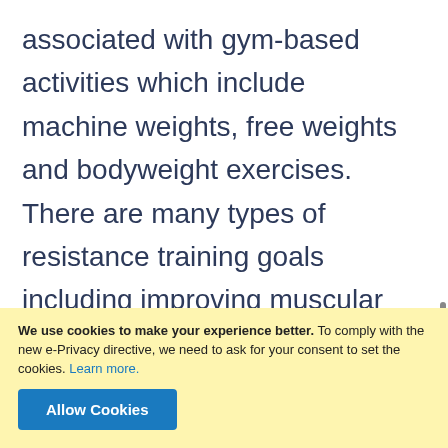associated with gym-based activities which include machine weights, free weights and bodyweight exercises. There are many types of resistance training goals including improving muscular endurance, hypertrophy (muscle building), strength and power. These training goals can be used to maximise performance in a range of sports including soccer, rugby, boxing, basketball and many more. Resistance exercise can have profound physical impact on
We use cookies to make your experience better. To comply with the new e-Privacy directive, we need to ask for your consent to set the cookies. Learn more.
Allow Cookies